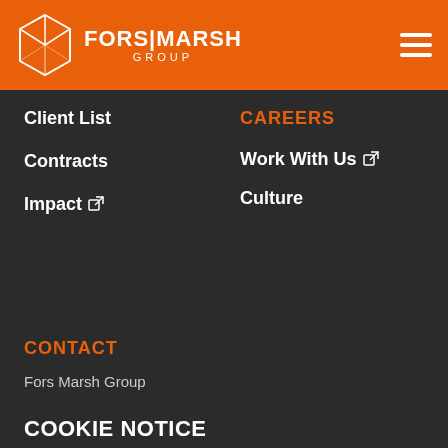[Figure (logo): Fors Marsh Group logo with orange hexagon-cube icon and white text FORS|MARSH GROUP on orange header bar with hamburger menu icon on right]
Client List
Contracts
Impact ↗
CAREERS
Work With Us ↗
Culture
CONTACT
Fors Marsh Group
COOKIE NOTICE
We use cookies to enhance your browsing experience.
ACCEPT COOKIES